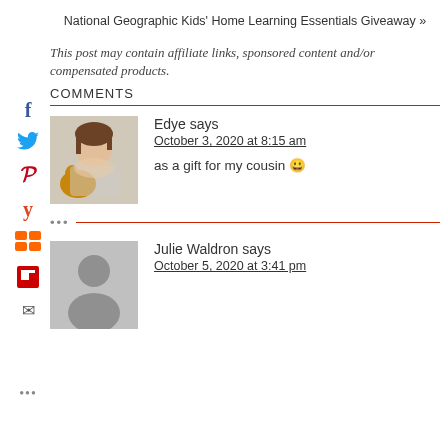National Geographic Kids' Home Learning Essentials Giveaway »
This post may contain affiliate links, sponsored content and/or compensated products.
COMMENTS
Edye says
October 3, 2020 at 8:15 am
as a gift for my cousin 😀
Julie Waldron says
October 5, 2020 at 3:41 pm